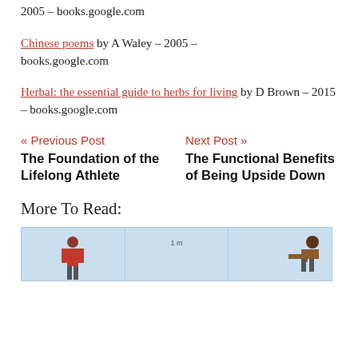2005 – books.google.com
Chinese poems by A Waley – 2005 – books.google.com
Herbal: the essential guide to herbs for living by D Brown – 2015 – books.google.com
« Previous Post
The Foundation of the Lifelong Athlete
Next Post »
The Functional Benefits of Being Upside Down
More To Read:
[Figure (illustration): Blue-background image strip showing two human figures, with a '1 m' scale label in the center cell]